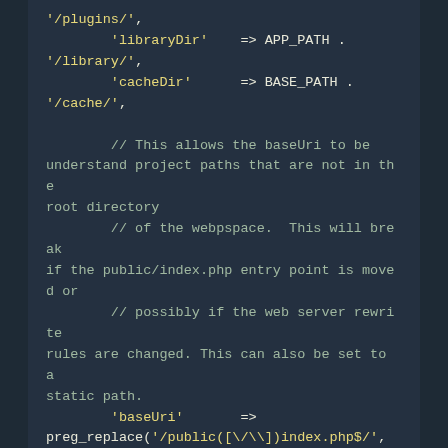Code snippet showing PHP configuration array with libraryDir, cacheDir, baseUri settings and comments about baseUri and preg_replace usage.